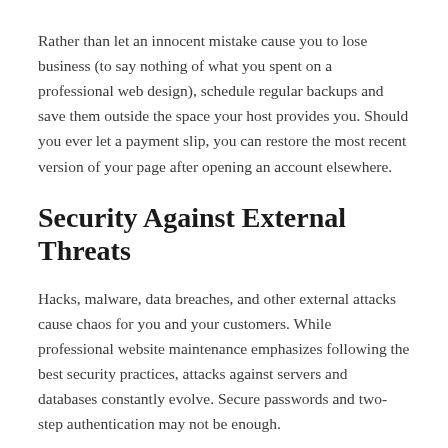Rather than let an innocent mistake cause you to lose business (to say nothing of what you spent on a professional web design), schedule regular backups and save them outside the space your host provides you. Should you ever let a payment slip, you can restore the most recent version of your page after opening an account elsewhere.
Security Against External Threats
Hacks, malware, data breaches, and other external attacks cause chaos for you and your customers. While professional website maintenance emphasizes following the best security practices, attacks against servers and databases constantly evolve. Secure passwords and two-step authentication may not be enough.